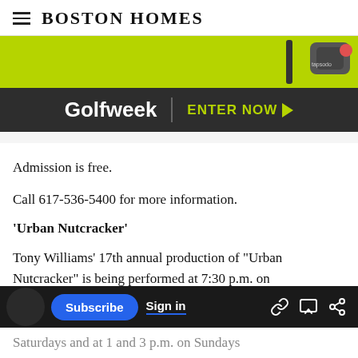Boston Homes
[Figure (photo): Advertisement banner for Golfweek featuring a green background with a golf device (Tapsodo), dark bar with Golfweek logo and 'ENTER NOW' call to action]
Admission is free.
Call 617-536-5400 for more information.
‘Urban Nutcracker’
Tony Williams’ 17th annual production of “Urban Nutcracker” is being performed at 7:30 p.m. on
Saturdays and at 1 and 3 p.m. on Sundays